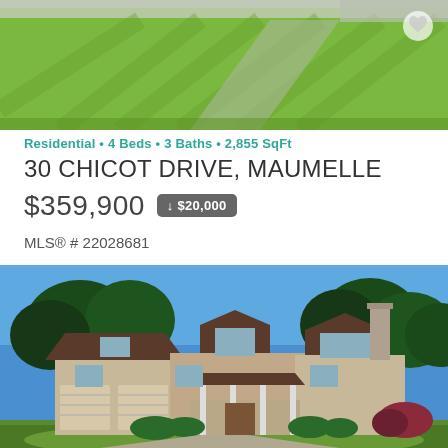[Figure (photo): Aerial/ground view of green lawn with driveway and street, top portion of a residential property listing]
Residential • 4 Beds • 3 Baths • 2,855 SqFt
30 CHICOT DRIVE, MAUMELLE
$359,900  ↓ $20,000
MLS® # 22028681
[Figure (photo): Front exterior of a two-story residential home with attached garage, brown roof, beige siding, porch, and large trees in background under blue sky]